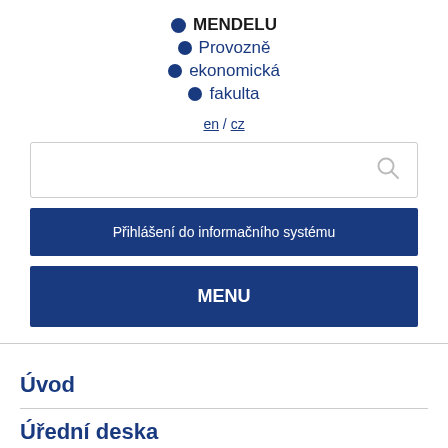[Figure (logo): Mendelu Provozně ekonomická fakulta logo with blue dots and text]
en / cz
[Figure (other): Search input box with magnifying glass icon]
Přihlášení do informačního systému
MENU
Úvod
Úřední deska